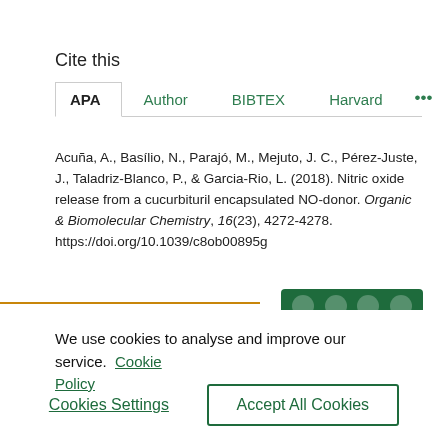Cite this
APA  Author  BIBTEX  Harvard  •••
Acuña, A., Basílio, N., Parajó, M., Mejuto, J. C., Pérez-Juste, J., Taladriz-Blanco, P., & Garcia-Rio, L. (2018). Nitric oxide release from a cucurbituril encapsulated NO-donor. Organic & Biomolecular Chemistry, 16(23), 4272-4278. https://doi.org/10.1039/c8ob00895g
We use cookies to analyse and improve our service.  Cookie Policy
Cookies Settings
Accept All Cookies